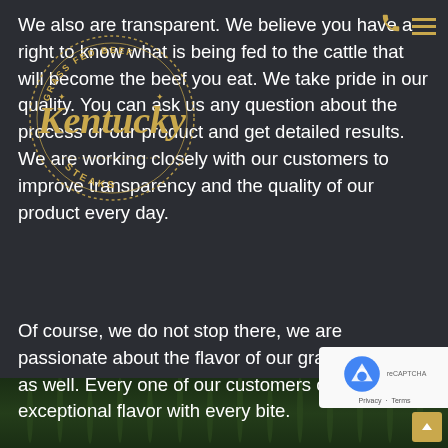We also are transparent. We believe you have a right to know what is being fed to the cattle that will become the beef you eat. We take pride in our quality. You can ask us any question about the process or our product and get detailed results. We are working closely with our customers to improve transparency and the quality of our product every day.
[Figure (logo): Kentucky Steaks circular logo with script text 'Kentucky' in gold, surrounded by 'GRASS FED BEEF' and 'STEAKS' text in a circular border design]
Of course, we do not stop there, we are passionate about the flavor of our grass fed beef as well. Every one of our customers can expect exceptional flavor with every bite.
[Figure (photo): Grass field photograph showing green grass at the bottom of the page]